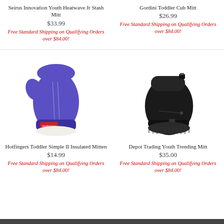Seirus Innovation Youth Heatwave Jr Stash Mitt
$33.99
Free Standard Shipping on Qualifying Orders over $84.00!
Gordini Toddler Cub Mitt
$26.99
Free Standard Shipping on Qualifying Orders over $84.00!
[Figure (photo): Purple/blue Hotfingers Toddler Simple II Insulated Mitten with white trim and brand logo patch]
Hotfingers Toddler Simple II Insulated Mitten
$14.99
Free Standard Shipping on Qualifying Orders over $84.00!
[Figure (photo): Black Depot Trading Youth Trending Mitt with buckle strap]
Depot Trading Youth Trending Mitt
$35.00
Free Standard Shipping on Qualifying Orders over $84.00!